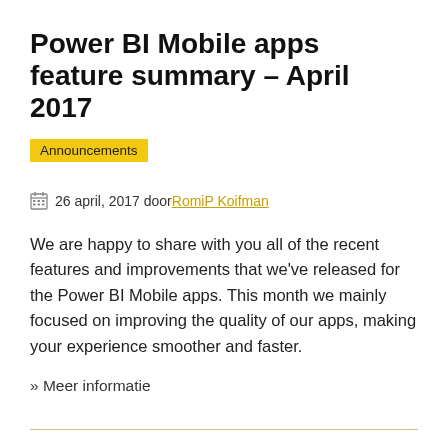Power BI Mobile apps feature summary – April 2017
Announcements
26 april, 2017 door RomiP Koifman
We are happy to share with you all of the recent features and improvements that we've released for the Power BI Mobile apps. This month we mainly focused on improving the quality of our apps, making your experience smoother and faster.
» Meer informatie